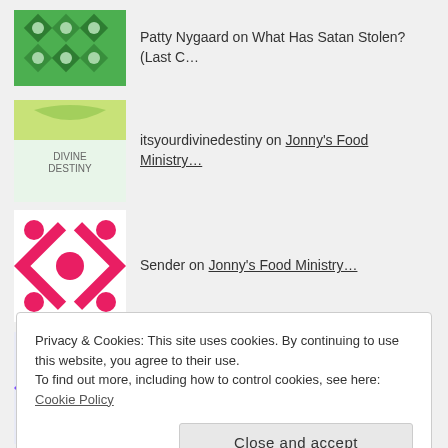Patty Nygaard on What Has Satan Stolen? (Last C…
itsyourdivinedestiny on Jonny's Food Ministry…
Sender on Jonny's Food Ministry…
shayndel on A New Strain of Wheat –…
ARCHIVES
Privacy & Cookies: This site uses cookies. By continuing to use this website, you agree to their use.
To find out more, including how to control cookies, see here: Cookie Policy
Close and accept